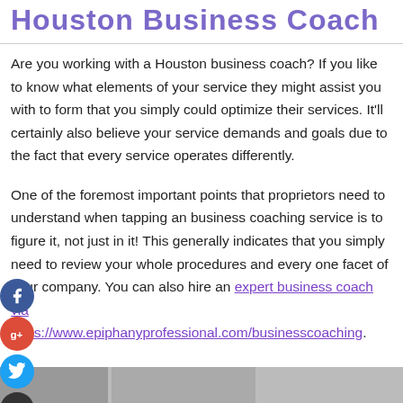Houston Business Coach
Are you working with a Houston business coach? If you like to know what elements of your service they might assist you with to form that you simply could optimize their services. It'll certainly also believe your service demands and goals due to the fact that every service operates differently.
One of the foremost important points that proprietors need to understand when tapping an business coaching service is to figure it, not just in it! This generally indicates that you simply need to review your whole procedures and every one facet of your company. You can also hire an expert business coach via https://www.epiphanyprofessional.com/businesscoaching.
[Figure (photo): Partial image strip at bottom of page showing photos related to business coaching]